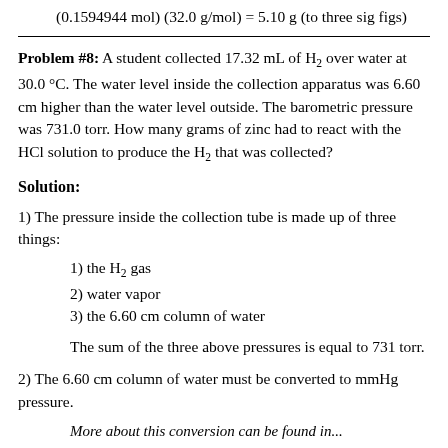(0.1594944 mol) (32.0 g/mol) = 5.10 g (to three sig figs)
Problem #8: A student collected 17.32 mL of H₂ over water at 30.0 °C. The water level inside the collection apparatus was 6.60 cm higher than the water level outside. The barometric pressure was 731.0 torr. How many grams of zinc had to react with the HCl solution to produce the H₂ that was collected?
Solution:
1) The pressure inside the collection tube is made up of three things:
1) the H₂ gas
2) water vapor
3) the 6.60 cm column of water
The sum of the three above pressures is equal to 731 torr.
2) The 6.60 cm column of water must be converted to mmHg pressure.
More about this conversion can be found in...